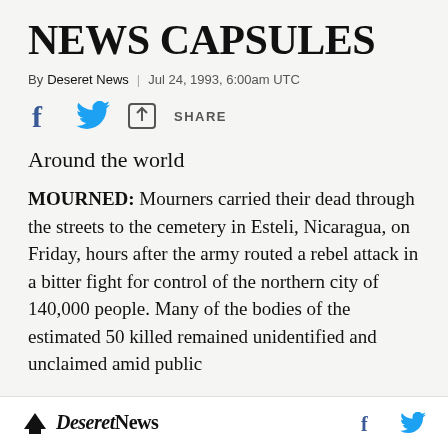NEWS CAPSULES
By Deseret News | Jul 24, 1993, 6:00am UTC
[Figure (infographic): Social share bar with Facebook, Twitter, and share icons with SHARE label]
Around the world
MOURNED: Mourners carried their dead through the streets to the cemetery in Esteli, Nicaragua, on Friday, hours after the army routed a rebel attack in a bitter fight for control of the northern city of 140,000 people. Many of the bodies of the estimated 50 killed remained unidentified and unclaimed amid public
Deseret News  f  (Twitter bird)